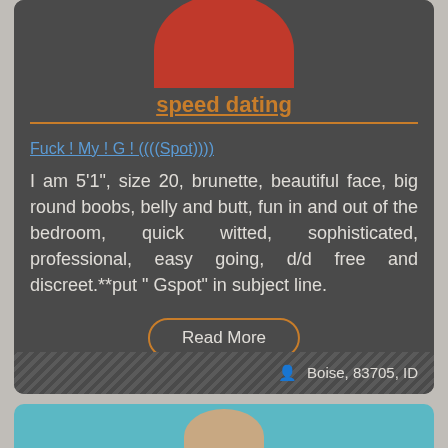[Figure (screenshot): Partial red circle image at top of dating listing card]
speed dating
Fuck ! My ! G ! ((((Spot))))
I am 5'1", size 20, brunette, beautiful face, big round boobs, belly and butt, fun in and out of the bedroom, quick witted, sophisticated, professional, easy going, d/d free and discreet.**put " Gspot" in subject line.
Read More
Boise, 83705, ID
[Figure (photo): Bottom of second listing card with teal/blue background and partial person image visible]